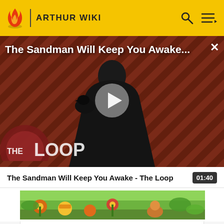ARTHUR WIKI
[Figure (screenshot): Video player showing 'The Sandman Will Keep You Awake...' with a dark-clad figure standing against a diagonal striped red/black background, with THE LOOP logo overlay and a play button in the center]
The Sandman Will Keep You Awake - The Loop
01:40
[Figure (screenshot): Thumbnail strip showing colorful animated characters in a jungle/garden setting]